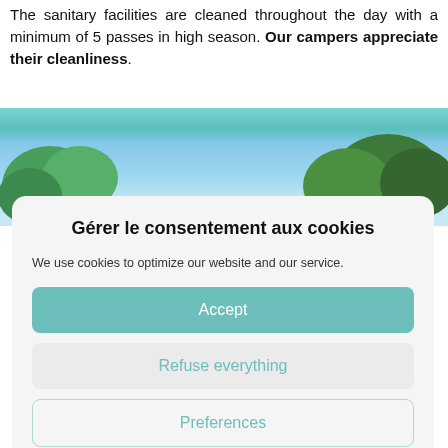The sanitary facilities are cleaned throughout the day with a minimum of 5 passes in high season. Our campers appreciate their cleanliness.
[Figure (photo): Outdoor photo showing trees and blue sky with a teal/turquoise color bar overlay]
Gérer le consentement aux cookies
We use cookies to optimize our website and our service.
Accept
Refuse everything
Preferences
Mentions Légales  Mentions Légales